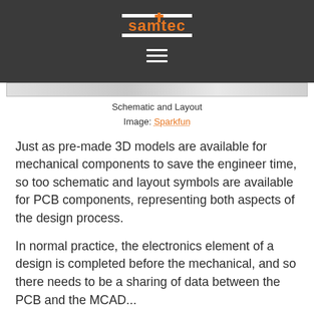Samtec
[Figure (screenshot): Partial screenshot of a PCB schematic and layout image from Sparkfun]
Schematic and Layout
Image: Sparkfun
Just as pre-made 3D models are available for mechanical components to save the engineer time, so too schematic and layout symbols are available for PCB components, representing both aspects of the design process.
In normal practice, the electronics element of a design is completed before the mechanical, and so there needs to be a sharing of data between the PCB and the MCAD...